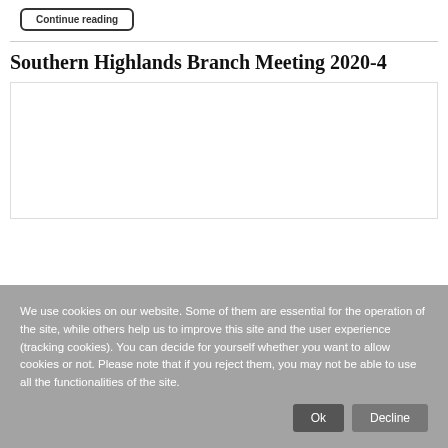Continue reading
Southern Highlands Branch Meeting 2020-4
[Figure (other): Empty white content box with border]
We use cookies on our website. Some of them are essential for the operation of the site, while others help us to improve this site and the user experience (tracking cookies). You can decide for yourself whether you want to allow cookies or not. Please note that if you reject them, you may not be able to use all the functionalities of the site.
Ok
Decline